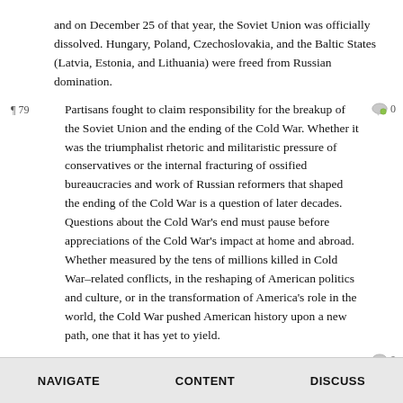and on December 25 of that year, the Soviet Union was officially dissolved. Hungary, Poland, Czechoslovakia, and the Baltic States (Latvia, Estonia, and Lithuania) were freed from Russian domination.
¶ 79 Partisans fought to claim responsibility for the breakup of the Soviet Union and the ending of the Cold War. Whether it was the triumphalist rhetoric and militaristic pressure of conservatives or the internal fracturing of ossified bureaucracies and work of Russian reformers that shaped the ending of the Cold War is a question of later decades. Questions about the Cold War's end must pause before appreciations of the Cold War's impact at home and abroad. Whether measured by the tens of millions killed in Cold War–related conflicts, in the reshaping of American politics and culture, or in the transformation of America's role in the world, the Cold War pushed American history upon a new path, one that it has yet to yield.
¶ 80
VII. PRIMARY SOURCES
NAVIGATE    CONTENT    DISCUSS